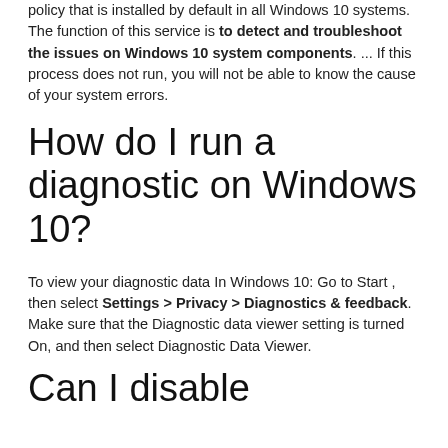policy that is installed by default in all Windows 10 systems. The function of this service is to detect and troubleshoot the issues on Windows 10 system components. ... If this process does not run, you will not be able to know the cause of your system errors.
How do I run a diagnostic on Windows 10?
To view your diagnostic data In Windows 10: Go to Start , then select Settings > Privacy > Diagnostics & feedback. Make sure that the Diagnostic data viewer setting is turned On, and then select Diagnostic Data Viewer.
Can I disable